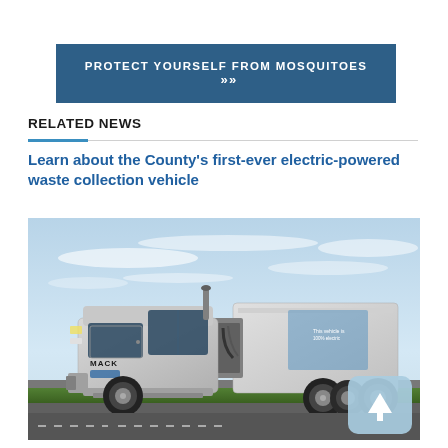PROTECT YOURSELF FROM MOSQUITOES »
RELATED NEWS
Learn about the County's first-ever electric-powered waste collection vehicle
[Figure (photo): A white Mack electric-powered waste collection garbage truck parked on a road with a light blue sky background and green grass in the foreground.]